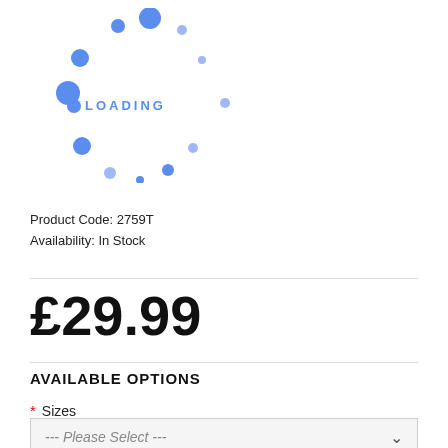[Figure (other): Loading spinner animation showing blue dots arranged in a circular pattern with 'LOADING' text in the center]
Product Code: 2759T
Availability: In Stock
£29.99
AVAILABLE OPTIONS
* Sizes
--- Please Select ---